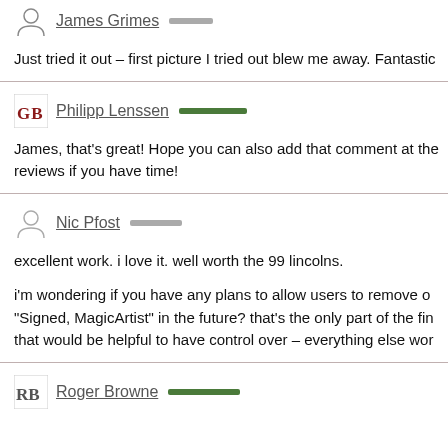James Grimes
Just tried it out – first picture I tried out blew me away. Fantastic...
Philipp Lenssen
James, that's great! Hope you can also add that comment at the reviews if you have time!
Nic Pfost
excellent work. i love it. well worth the 99 lincolns.
i'm wondering if you have any plans to allow users to remove on "Signed, MagicArtist" in the future? that's the only part of the fin that would be helpful to have control over – everything else wor
Roger Browne